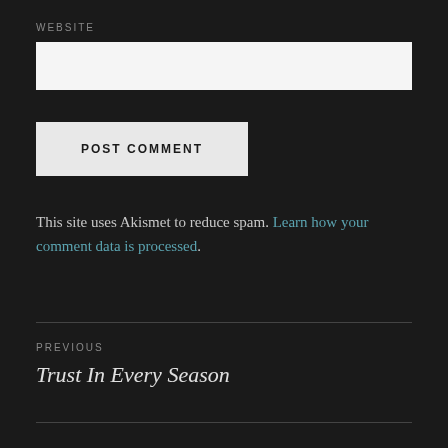WEBSITE
[Figure (other): Website text input field (empty, light background)]
[Figure (other): POST COMMENT button (light gray background, uppercase bold text)]
This site uses Akismet to reduce spam. Learn how your comment data is processed.
PREVIOUS
Trust In Every Season